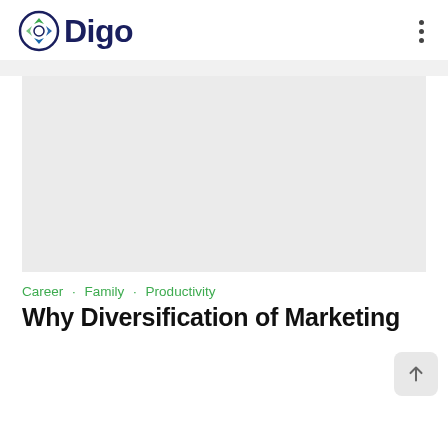Digo
[Figure (illustration): Large gray placeholder image area representing a banner or featured image for the article]
Career · Family · Productivity
Why Diversification of Marketing